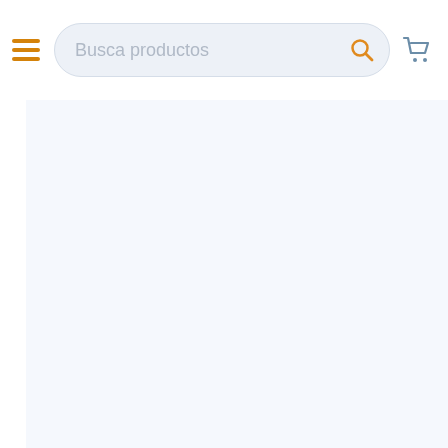Busca productos
[Figure (screenshot): Empty content area below the header with a white left sidebar strip and light blue-grey background]